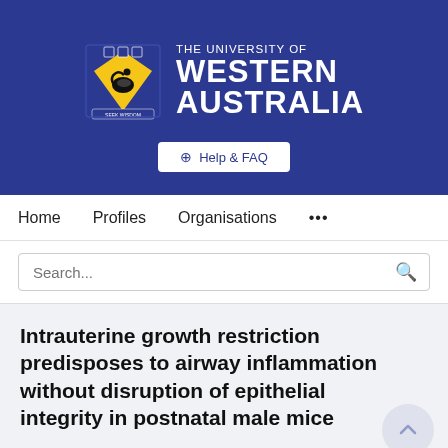[Figure (logo): University of Western Australia logo with crest (blue shield with gold diagonal and black swan, books at top) and text 'THE UNIVERSITY OF WESTERN AUSTRALIA' in white on dark blue banner background]
⊕ Help & FAQ
Home   Profiles   Organisations   ...
Search...
Intrauterine growth restriction predisposes to airway inflammation without disruption of epithelial integrity in postnatal male mice